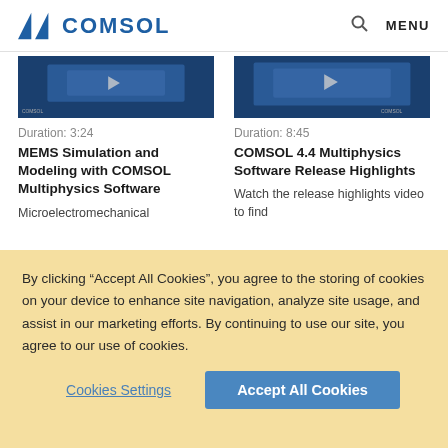COMSOL | MENU
[Figure (screenshot): COMSOL video thumbnail showing MEMS device simulation, dark blue background]
Duration: 3:24
MEMS Simulation and Modeling with COMSOL Multiphysics Software
Microelectromechanical
[Figure (screenshot): COMSOL video thumbnail for 4.4 Multiphysics release highlights, dark blue background]
Duration: 8:45
COMSOL 4.4 Multiphysics Software Release Highlights
Watch the release highlights video to find
By clicking “Accept All Cookies”, you agree to the storing of cookies on your device to enhance site navigation, analyze site usage, and assist in our marketing efforts. By continuing to use our site, you agree to our use of cookies.
Cookies Settings
Accept All Cookies